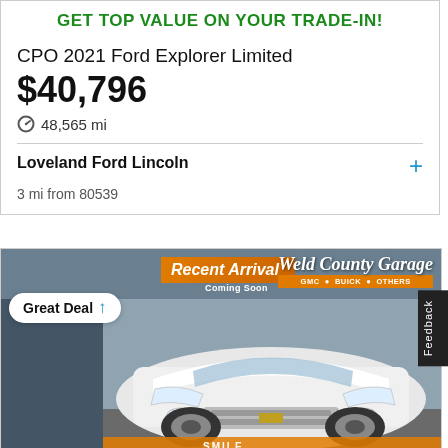GET TOP VALUE ON YOUR TRADE-IN!
CPO 2021 Ford Explorer Limited
$40,796
48,565 mi
Loveland Ford Lincoln
3 mi from 80539
[Figure (photo): White SUV (Chevrolet Equinox) at a car dealership lot, with 'Recent Arrival' orange banner, 'Great Deal' badge, 'Weld County Garage' dealer logo, and 'SMILE' text overlay at the bottom.]